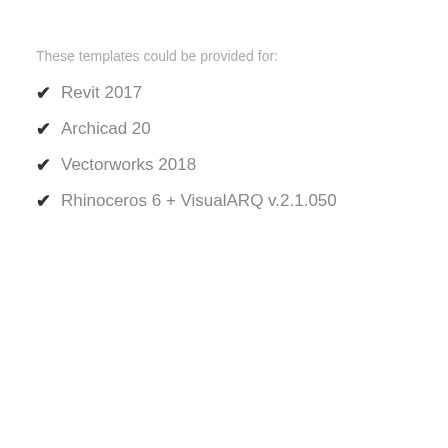These templates could be provided for:
✔ Revit 2017
✔ Archicad 20
✔ Vectorworks 2018
✔ Rhinoceros 6 + VisualARQ v.2.1.050
[Figure (screenshot): New Project dialog box showing Template file field with 'Passive House Template.rte' in a dropdown highlighted with a red dashed border, and a Browse... button]